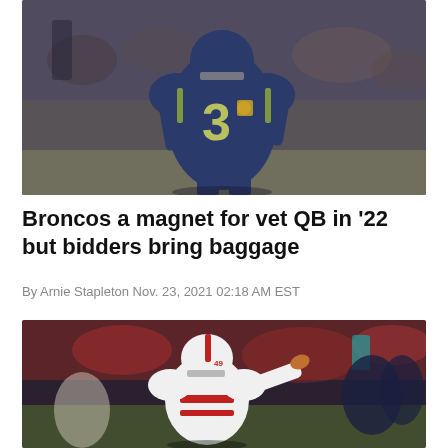[Figure (photo): NFL quarterback wearing Seattle Seahawks #3 jersey (navy blue and neon green) running on field]
Broncos a magnet for vet QB in '22 but bidders bring baggage
By Arnie Stapleton Nov. 23, 2021 02:18 AM EST
[Figure (photo): NFL quarterback in San Francisco 49ers white uniform throwing a pass during a game]